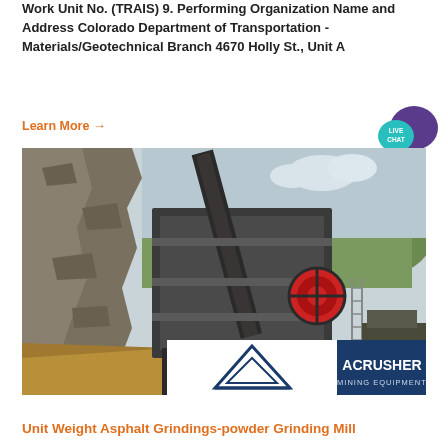Work Unit No. (TRAIS) 9. Performing Organization Name and Address Colorado Department of Transportation - Materials/Geotechnical Branch 4670 Holly St., Unit A
Learn More →
[Figure (photo): Industrial mining crushing equipment setup at a quarry site with rocks on the left side, hills/trees in background, and an ACRUSHER MINING EQUIPMENT logo/sign overlaid on the lower portion of the image]
Unit Weight Asphalt Grindings-powder Grinding Mill